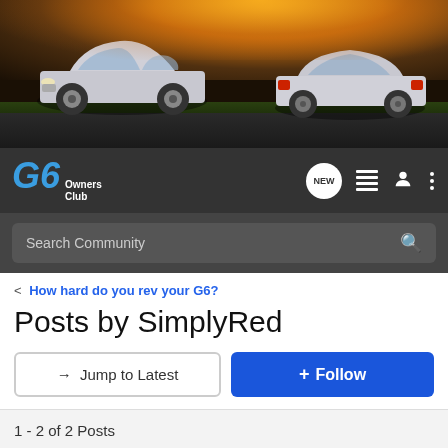[Figure (photo): Banner image of two silver Pontiac G6 cars on a road at sunset/dusk with dramatic orange and dark sky]
G6 Owners Club — navigation bar with NEW, list, user, and menu icons
Search Community
< How hard do you rev your G6?
Posts by SimplyRed
→ Jump to Latest
+ Follow
1 - 2 of 2 Posts
SimplyRed · Registered
Joined Dec 21, 2005 · 142 Posts